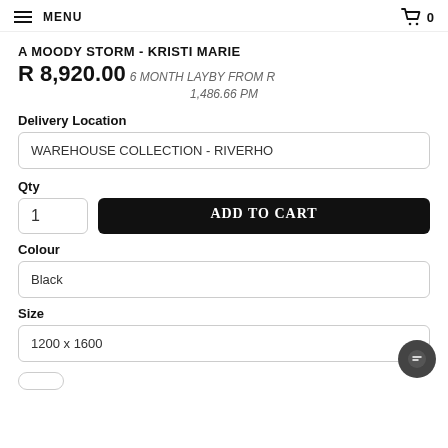MENU  0
A MOODY STORM - KRISTI MARIE
R 8,920.00 6 MONTH LAYBY FROM R 1,486.66 PM
Delivery Location
WAREHOUSE COLLECTION - RIVERHO
Qty
1
ADD TO CART
Colour
Black
Size
1200 x 1600